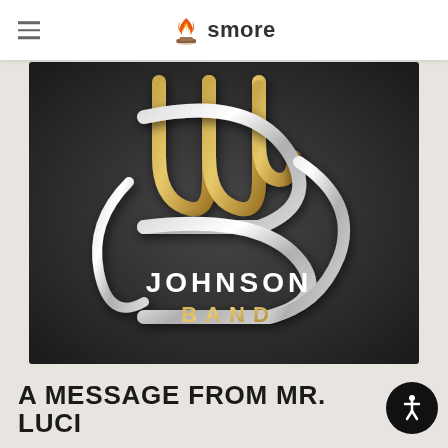smore
[Figure (logo): Johnson Band logo — stylized JB monogram in silver/chrome with gold accent letters on a dark charcoal background, with 'JOHNSON' in white and 'BAND' in gold text below the monogram]
A MESSAGE FROM MR. LUCI...